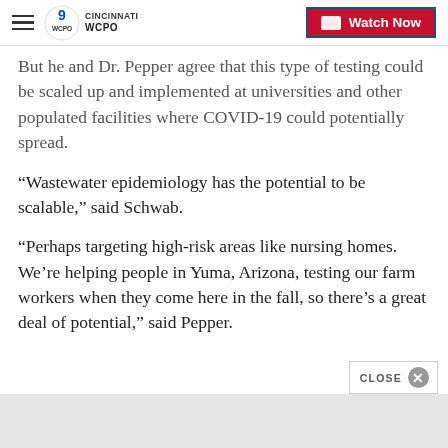WCPO CINCINNATI | Watch Now
But he and Dr. Pepper agree that this type of testing could be scaled up and implemented at universities and other populated facilities where COVID-19 could potentially spread.
“Wastewater epidemiology has the potential to be scalable,” said Schwab.
“Perhaps targeting high-risk areas like nursing homes. We’re helping people in Yuma, Arizona, testing our farm workers when they come here in the fall, so there’s a great deal of potential,” said Pepper.